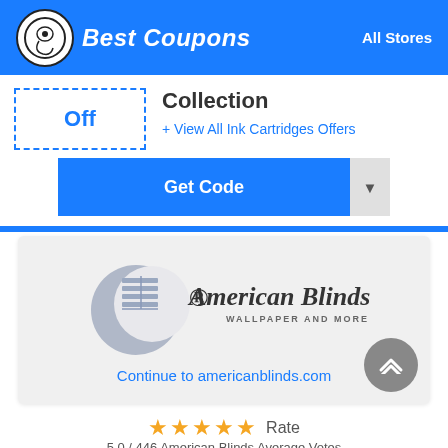[Figure (logo): Best Coupons logo - circle with icon and italic bold white text 'Best Coupons' on blue header bar]
All Stores
Collection
+ View All Ink Cartridges Offers
Get Code
[Figure (logo): American Blinds Wallpaper and More logo - grey crescent moon shape with window blind icon and serif brand name]
Continue to americanblinds.com
★ ★ ★ ★ ★  Rate
5.0 / 446 American Blinds Average Votes